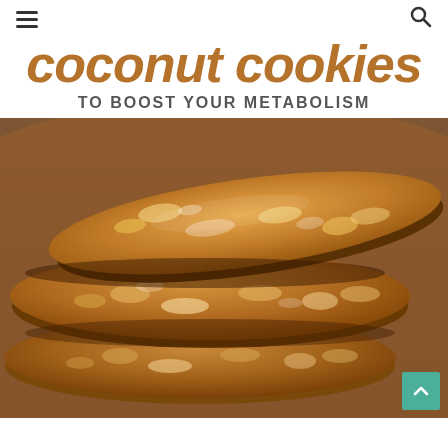≡  [hamburger menu]  [search icon]
coconut cookies
TO BOOST YOUR METABOLISM
[Figure (photo): Close-up photo of a stack of oat coconut cookies on a wooden surface, golden brown with visible oats and coconut flakes]